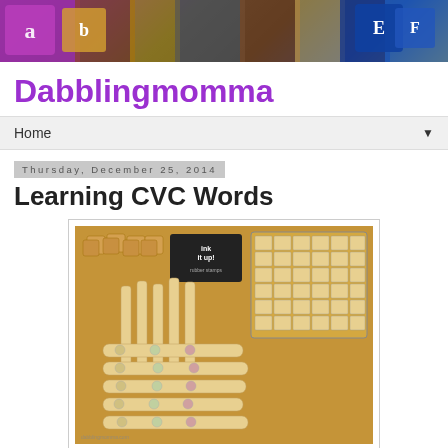[Figure (photo): Colorful alphabet letter blocks scattered on a surface — banner/header image for Dabblingmomma blog]
Dabblingmomma
Home
Thursday, December 25, 2014
Learning CVC Words
[Figure (photo): Craft sticks (popsicle sticks) with stamped letter pictures for CVC word learning activity, along with ink stamps and a grid of picture stamps, arranged on a wooden table surface]